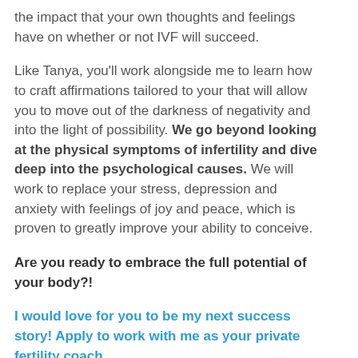the impact that your own thoughts and feelings have on whether or not IVF will succeed.
Like Tanya, you'll work alongside me to learn how to craft affirmations tailored to your that will allow you to move out of the darkness of negativity and into the light of possibility. We go beyond looking at the physical symptoms of infertility and dive deep into the psychological causes. We will work to replace your stress, depression and anxiety with feelings of joy and peace, which is proven to greatly improve your ability to conceive.
Are you ready to embrace the full potential of your body?!
I would love for you to be my next success story! Apply to work with me as your private fertility coach.